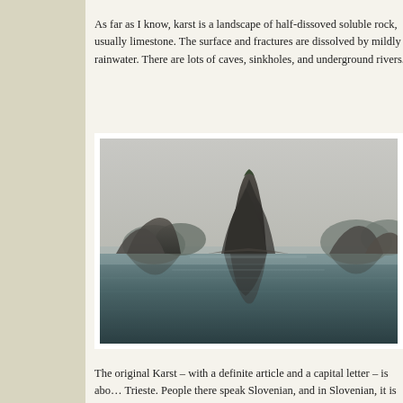As far as I know, karst is a landscape of half-dissoved soluble rock, usually limestone. The surface and fractures are dissolved by mildly rainwater. There are lots of caves, sinkholes, and underground rivers.
[Figure (photo): Karst limestone rock formations rising from calm water, with misty overcast sky. Ha Long Bay style karst seascape with multiple jagged rocky islands reflected in the still water.]
The original Karst – with a definite article and a capital letter – is about Trieste. People there speak Slovenian, and in Slovenian, it is Kars. In Italian it is Carso. The Austrians – temporary possessors of that part of...